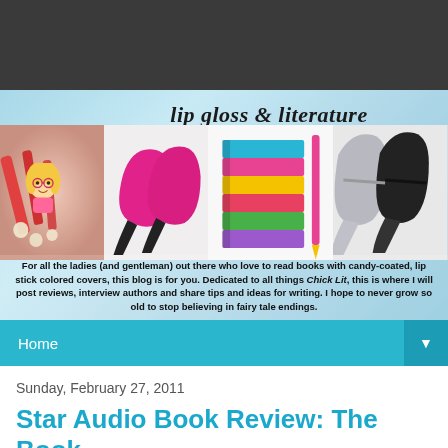[Figure (illustration): Dark gray top bar, website header region]
[Figure (illustration): Lip Gloss & Literature blog banner with cursive italic title, cartoon blonde woman, pink heels, stacked books, black heels on light blue gradient background. Text overlay: 'For all the ladies (and gentleman) out there who love to read books with candy-coated, lip stick colored covers, this blog is for you. Dedicated to all things Chick Lit, this is where I will post reviews, interview authors and share tips and ideas for writing. I hope to never grow so old to stop believing in fairy tale endings.']
Home
Sunday, February 27, 2011
Star Audio Book Review: The Book